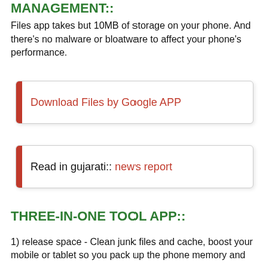MANAGEMENT::
Files app takes but 10MB of storage on your phone. And there's no malware or bloatware to affect your phone's performance.
Download Files by Google APP
Read in gujarati:: news report
THREE-IN-ONE TOOL APP::
1) release space - Clean junk files and cache, boost your mobile or tablet so you pack up the phone memory and